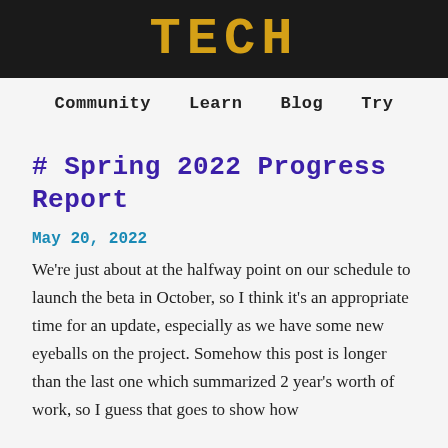TECH
Community   Learn   Blog   Try
# Spring 2022 Progress Report
May 20, 2022
We're just about at the halfway point on our schedule to launch the beta in October, so I think it's an appropriate time for an update, especially as we have some new eyeballs on the project. Somehow this post is longer than the last one which summarized 2 year's worth of work, so I guess that goes to show how